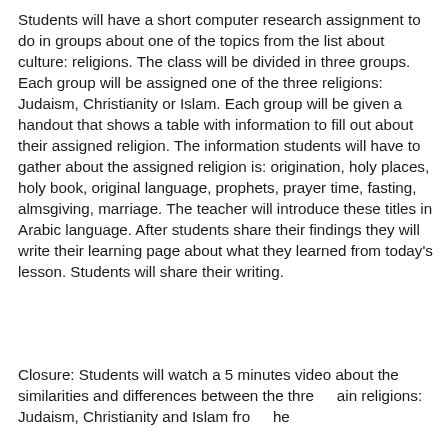Students will have a short computer research assignment to do in groups about one of the topics from the list about culture: religions. The class will be divided in three groups. Each group will be assigned one of the three religions: Judaism, Christianity or Islam. Each group will be given a handout that shows a table with information to fill out about their assigned religion. The information students will have to gather about the assigned religion is: origination, holy places, holy book, original language, prophets, prayer time, fasting, almsgiving, marriage. The teacher will introduce these titles in Arabic language. After students share their findings they will write their learning page about what they learned from today's lesson. Students will share their writing.
Closure: Students will watch a 5 minutes video about the similarities and differences between the three main religions: Judaism, Christianity and Islam from the perspective of a Rabbi, a priest and an Imam.